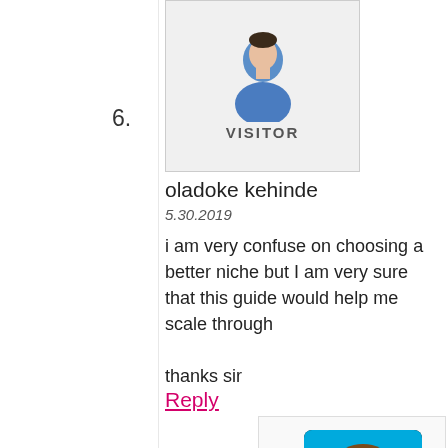6.
[Figure (illustration): Visitor avatar: generic user silhouette in blue with 'VISITOR' label on grey background]
oladoke kehinde
5.30.2019
i am very confuse on choosing a better niche but I am very sure that this guide would help me scale through

thanks sir
Reply
[Figure (illustration): Matthew Woodward cartoon avatar: illustrated character in red shirt with laptop on blue background, Matthew Woodward logo at bottom]
Matthew Woodward
May 31st, 2019 at 10:51 am